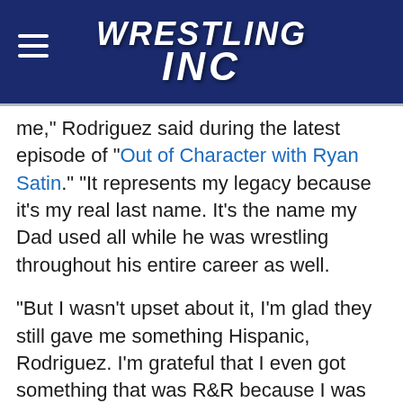Wrestling Inc
me," Rodriguez said during the latest episode of "Out of Character with Ryan Satin." "It represents my legacy because it's my real last name. It's the name my Dad used all while he was wrestling throughout his entire career as well.
"But I wasn't upset about it, I'm glad they still gave me something Hispanic, Rodriguez. I'm grateful that I even got something that was R&R because I was joking with Rhea [Ripley] the other day, her initials are R&R and mine are R&R and when we used to tag together, we used to be R&R so I really can't say I was super upset about it. Gonzalez just had a